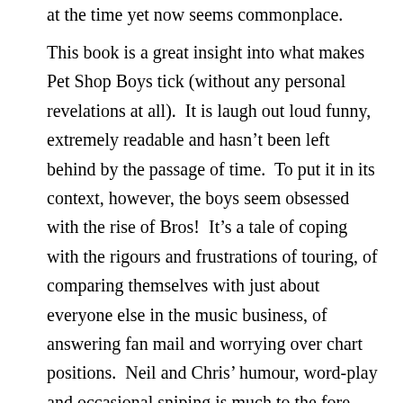at the time yet now seems commonplace.
This book is a great insight into what makes Pet Shop Boys tick (without any personal revelations at all).  It is laugh out loud funny, extremely readable and hasn't been left behind by the passage of time.  To put it in its context, however, the boys seem obsessed with the rise of Bros!  It's a tale of coping with the rigours and frustrations of touring, of comparing themselves with just about everyone else in the music business, of answering fan mail and worrying over chart positions.  Neil and Chris' humour, word-play and occasional sniping is much to the fore and it makes for great reading.  It is a book which you can open at random and find much to enjoy and read as a whole it manages to give you uniquely both the whole sense and no sense at